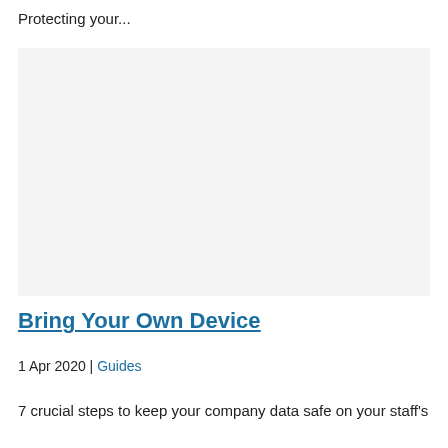Protecting your...
[Figure (photo): Light gray placeholder image for a blog article about Bring Your Own Device]
Bring Your Own Device
1 Apr 2020 | Guides
7 crucial steps to keep your company data safe on your staff's